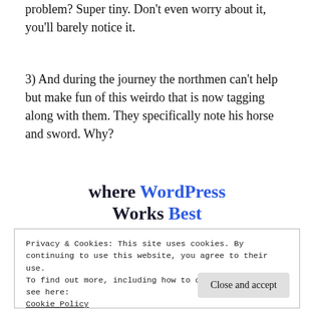problem? Super tiny. Don't even worry about it, you'll barely notice it.
3) And during the journey the northmen can't help but make fun of this weirdo that is now tagging along with them. They specifically note his horse and sword. Why?
[Figure (logo): WordPress promotional banner text reading 'Where WordPress Works Best']
Privacy & Cookies: This site uses cookies. By continuing to use this website, you agree to their use.
To find out more, including how to control cookies, see here: Cookie Policy
Close and accept